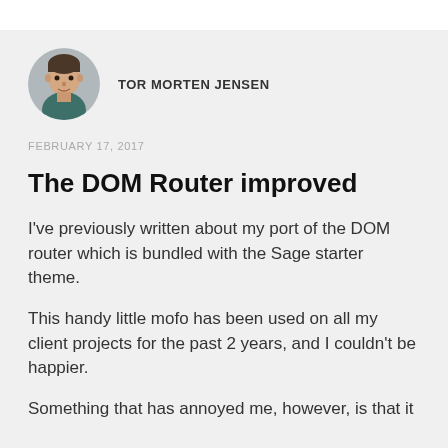[Figure (photo): Circular avatar photo of a man wearing a teal/dark shirt, with short dark hair, on a light grey background.]
TOR MORTEN JENSEN
FEBRUARY 17, 2017
The DOM Router improved
I've previously written about my port of the DOM router which is bundled with the Sage starter theme.
This handy little mofo has been used on all my client projects for the past 2 years, and I couldn't be happier.
Something that has annoyed me, however, is that it